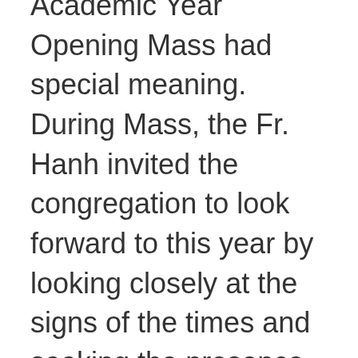Academic Year Opening Mass had special meaning. During Mass, the Fr. Hanh invited the congregation to look forward to this year by looking closely at the signs of the times and seeking the presence of the Holy Spirit in the midst of the world's suffering. During the Mass, and based on the Gospel narrative of Lk 6:1-5, Fr. Hanh shared his